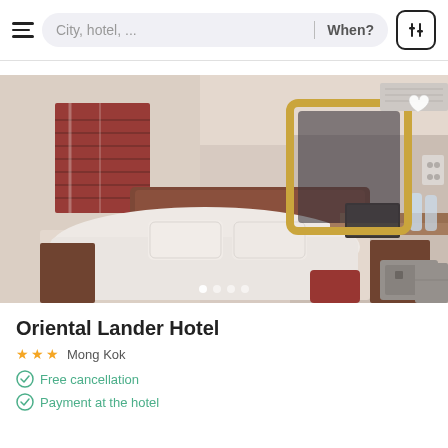[Figure (screenshot): Hotel booking app interface with search bar showing 'City, hotel, ...' and 'When?' fields, hamburger menu, and filter icon]
[Figure (photo): Hotel room photo showing a double bed with white linens, dark wood headboard, red shuttered window, gold-framed mirror, desk with laptop and water bottles, and safe]
Oriental Lander Hotel
★ ★ ★  Mong Kok
Free cancellation
Payment at the hotel